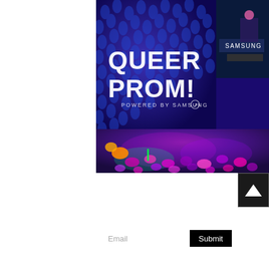[Figure (photo): Aerial/overhead view of Queer Prom event powered by Samsung. Large LED display wall shows 'QUEER PROM! POWERED BY SAMSUNG' in white and yellow text on blue background. Below, a crowd of people dancing on a colorful dance floor with neon lighting (pink, purple, green). A DJ booth with Samsung branding is visible in the upper right corner.]
GET IN TOUCH
allison@trifecta-studios.com
STAY CONNECTED
Email  Submit